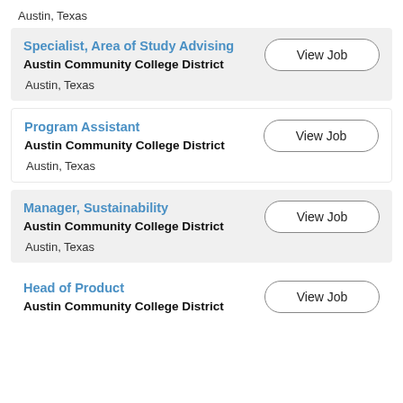Austin, Texas
Specialist, Area of Study Advising | Austin Community College District | Austin, Texas
Program Assistant | Austin Community College District | Austin, Texas
Manager, Sustainability | Austin Community College District | Austin, Texas
Head of Product | Austin Community College District